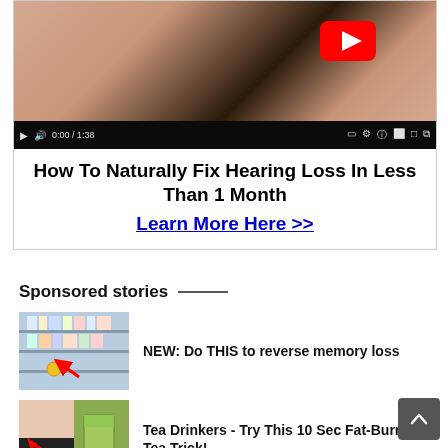[Figure (screenshot): YouTube video thumbnail showing a hand touching a person's ear/neck area, with a YouTube play button overlay and video controls bar at the bottom]
How To Naturally Fix Hearing Loss In Less Than 1 Month
Learn More Here >>
Sponsored stories
[Figure (photo): Thumbnail showing shelves with products and a red arrow pointing to an item]
NEW: Do THIS to reverse memory loss
[Figure (photo): Before and after photo showing a woman's body and a glass of green tea]
Tea Drinkers - Try This 10 Sec Fat-Burning Tea Trick!